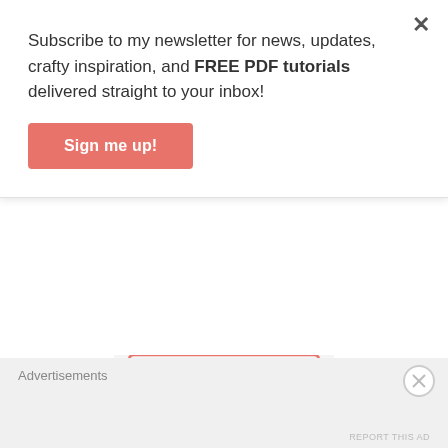Subscribe to my newsletter for news, updates, crafty inspiration, and FREE PDF tutorials delivered straight to your inbox!
Sign me up!
[Figure (illustration): Partial view of a decorative label or jar with marble texture and pink/coral border outline, showing the top portion of a logo or brand name]
[Figure (illustration): Decorative label with marble texture background, ornate coral/pink border with scalloped top arch, and large coral text reading 'Clamen' (partial view of full brand name)]
Advertisements
REPORT THIS AD